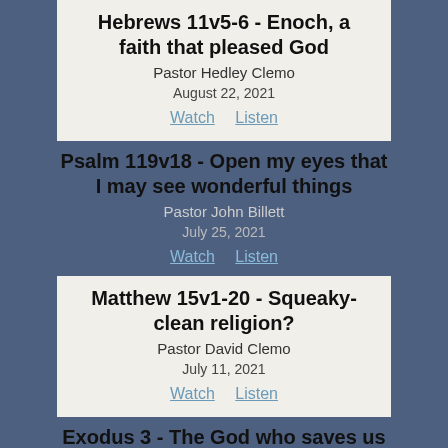Hebrews 11v5-6 - Enoch, a faith that pleased God
Pastor Hedley Clemo
August 22, 2021
Watch  Listen
Psalm 119v18 - Open my eyes that I may see wonderful things
Pastor John Billett
July 25, 2021
Watch  Listen
Matthew 15v1-20 - Squeaky-clean religion?
Pastor David Clemo
July 11, 2021
Watch  Listen
Exodus 3 - The God who saves us
Pastor Harald Holmgren
May 23, 2021